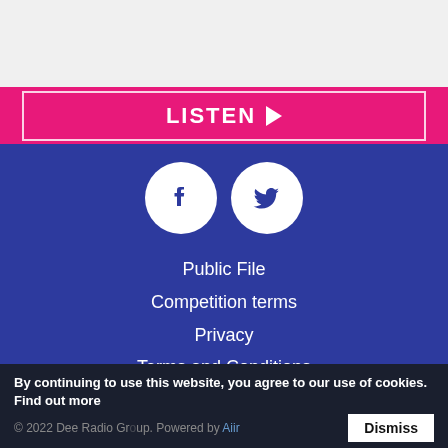[Figure (other): Gray background top section placeholder area]
[Figure (other): Pink LISTEN button with play arrow on pink bar]
[Figure (other): Facebook and Twitter social media icons as white circles on blue background]
Public File
Competition terms
Privacy
Terms and Conditions
Love 80's
Silk 106.9
By continuing to use this website, you agree to our use of cookies. Find out more
© 2022 Dee Radio Group. Powered by Aiir